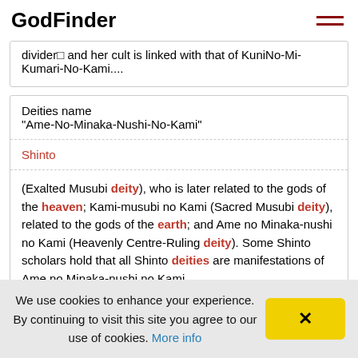GodFinder
divider□ and her cult is linked with that of KuniNo-Mi-Kumari-No-Kami....
| Deities name
"Ame-No-Minaka-Nushi-No-Kami" |
| Shinto |
| (Exalted Musubi deity), who is later related to the gods of the heaven; Kami-musubi no Kami (Sacred Musubi deity), related to the gods of the earth; and Ame no Minaka-nushi no Kami (Heavenly Centre-Ruling deity). Some Shinto scholars hold that all Shinto deities are manifestations of Ame no Minaka-nushi no Kami. |
Goddess name
We use cookies to enhance your experience. By continuing to visit this site you agree to our use of cookies. More info